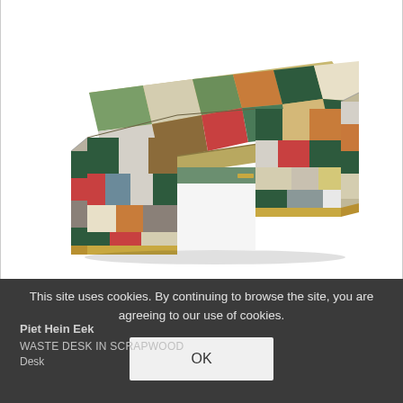[Figure (photo): A colorful patchwork desk made from scrapwood pieces in various colors (green, red, white, beige, black, gray, dark blue, gold/brass accents) arranged in a mosaic-like pattern. The desk has a long rectangular tabletop and two block-shaped legs, photographed against a white background.]
This site uses cookies. By continuing to browse the site, you are agreeing to our use of cookies.
OK
Piet Hein Eek
WASTE DESK IN SCRAPWOOD
Desk